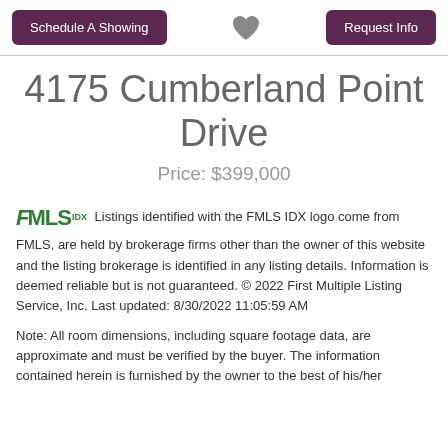Schedule A Showing | [heart icon] | Request Info
4175 Cumberland Point Drive
Price: $399,000
FMLS IDX Listings identified with the FMLS IDX logo come from FMLS, are held by brokerage firms other than the owner of this website and the listing brokerage is identified in any listing details. Information is deemed reliable but is not guaranteed. © 2022 First Multiple Listing Service, Inc. Last updated: 8/30/2022 11:05:59 AM
Note: All room dimensions, including square footage data, are approximate and must be verified by the buyer. The information contained herein is furnished by the owner to the best of his/her knowledge but is subject to verification by the purchaser, and agent assumes no responsibility for the correctness thereof.